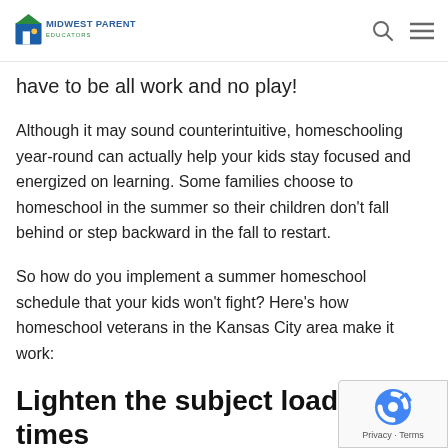Midwest Parent Educators
have to be all work and no play!
Although it may sound counterintuitive, homeschooling year-round can actually help your kids stay focused and energized on learning. Some families choose to homeschool in the summer so their children don't fall behind or step backward in the fall to restart.
So how do you implement a summer homeschool schedule that your kids won't fight? Here's how homeschool veterans in the Kansas City area make it work:
Lighten the subject load and times